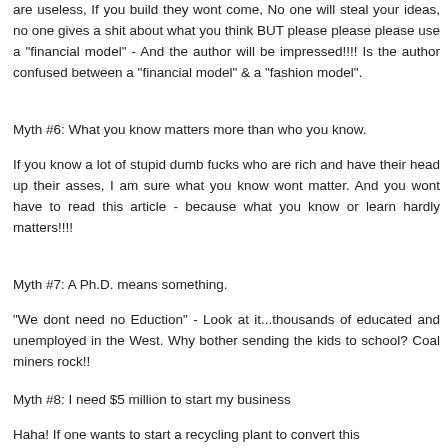are useless, If you build they wont come, No one will steal your ideas, no one gives a shit about what you think BUT please please please use a "financial model" - And the author will be impressed!!!! Is the author confused between a "financial model" & a "fashion model".
Myth #6: What you know matters more than who you know.
If you know a lot of stupid dumb fucks who are rich and have their head up their asses, I am sure what you know wont matter. And you wont have to read this article - because what you know or learn hardly matters!!!!
Myth #7: A Ph.D. means something.
"We dont need no Eduction" - Look at it...thousands of educated and unemployed in the West. Why bother sending the kids to school? Coal miners rock!!
Myth #8: I need $5 million to start my business
Haha! If one wants to start a recycling plant to convert this